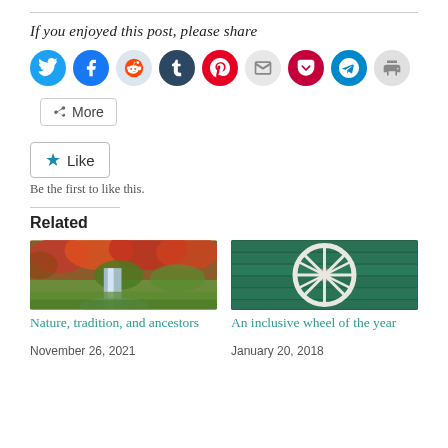If you enjoyed this post, please share
[Figure (infographic): Social sharing icons row: Twitter (blue), Facebook (blue), Reddit (light grey), Tumblr (dark navy), Pinterest (red), Email (grey), Pocket (dark red), Telegram (blue), Print (grey)]
More
Like
Be the first to like this.
Related
[Figure (photo): Waterfall scene with autumn red/orange foliage]
Nature, tradition, and ancestors
November 26, 2021
[Figure (photo): White wagon wheel against green painted wood wall]
An inclusive wheel of the year
January 20, 2018